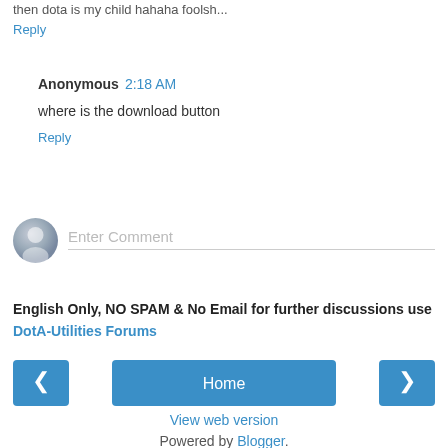then dota is my child hahaha foolsh...
Reply
Anonymous 2:18 AM
where is the download button
Reply
Enter Comment
English Only, NO SPAM & No Email for further discussions use DotA-Utilities Forums
Home
View web version
Powered by Blogger.